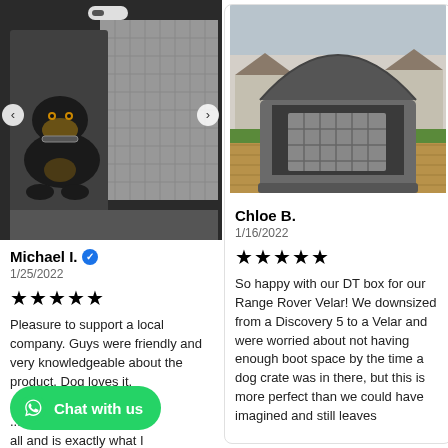[Figure (photo): A Rottweiler puppy sitting inside an open dog crate/transport box]
Michael I. ✓
1/25/2022
★★★★★
Pleasure to support a local company. Guys were friendly and very knowledgeable about the product. Dog loves it. ...ship ...eavy at all and is exactly what I
[Figure (photo): Rear view of a car with boot open showing a dog crate installed, parked on a brick driveway with houses in background]
Chloe B.
1/16/2022
★★★★★
So happy with our DT box for our Range Rover Velar! We downsized from a Discovery 5 to a Velar and were worried about not having enough boot space by the time a dog crate was in there, but this is more perfect than we could have imagined and still leaves